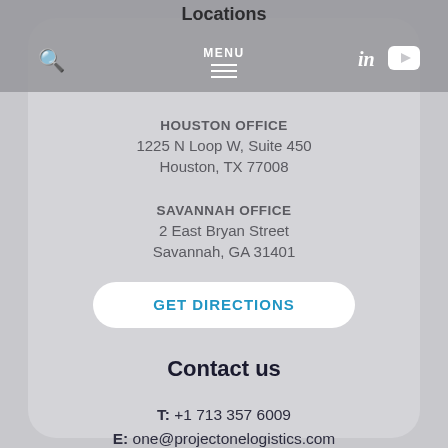Locations
MENU
HOUSTON OFFICE
1225 N Loop W, Suite 450
Houston, TX 77008
SAVANNAH OFFICE
2 East Bryan Street
Savannah, GA 31401
GET DIRECTIONS
Contact us
T: +1 713 357 6009
E: one@projectonelogistics.com